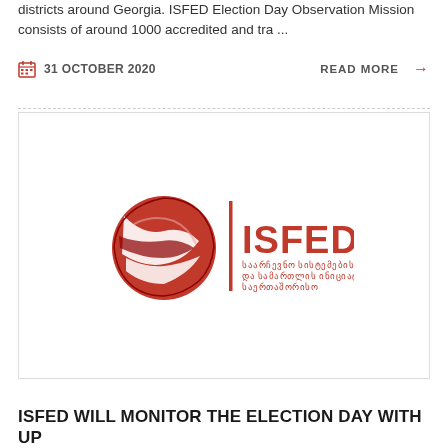districts around Georgia. ISFED Election Day Observation Mission consists of around 1000 accredited and tra ...
31 OCTOBER 2020
READ MORE
[Figure (logo): ISFED logo — red globe-like emblem with white stripe, vertical red bar divider, text ISFED in large letters with Georgian-script subtitle]
ISFED WILL MONITOR THE ELECTION DAY WITH UP